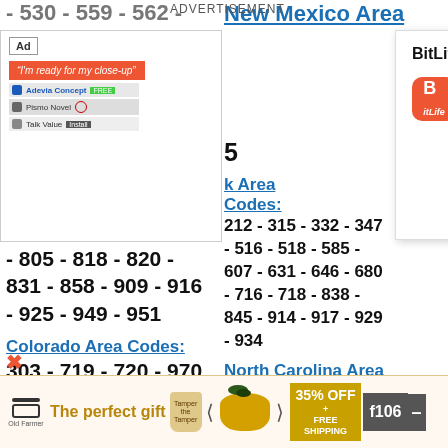- 530 - 559 - 562 -
ADVERTISEMENT
New Mexico Area
[Figure (screenshot): Advertisement overlay showing BitLife - Life Simulator app by Candywriter, LLC with Install button]
- 805 - 818 - 820 - 831 - 858 - 909 - 916 - 925 - 949 - 951
Colorado Area Codes:
303 - 719 - 720 - 970
Connecticut Area Codes:
203 - 475 - 860 - 959
Delaware Area Codes:
k Area Codes:
212 - 315 - 332 - 347 - 516 - 518 - 585 - 607 - 631 - 646 - 680 - 716 - 718 - 838 - 845 - 914 - 917 - 929 - 934
North Carolina Area Codes:
252 - 336 - 704 - 743
[Figure (screenshot): Bottom advertisement banner: The perfect gift with Old Farmer product, 35% OFF FREE SHIPPING, navigation arrows and f106 badge]